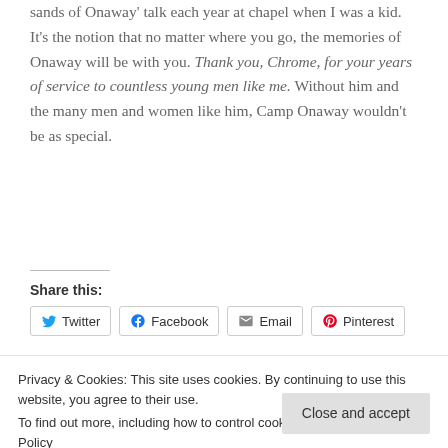sands of Onaway' talk each year at chapel when I was a kid. It's the notion that no matter where you go, the memories of Onaway will be with you. Thank you, Chrome, for your years of service to countless young men like me. Without him and the many men and women like him, Camp Onaway wouldn't be as special.
Share this:
Twitter Facebook Email Pinterest
Privacy & Cookies: This site uses cookies. By continuing to use this website, you agree to their use. To find out more, including how to control cookies, see here: Cookie Policy
Close and accept
Still Crazy After All These ... | Five Photos, Five Stories ...